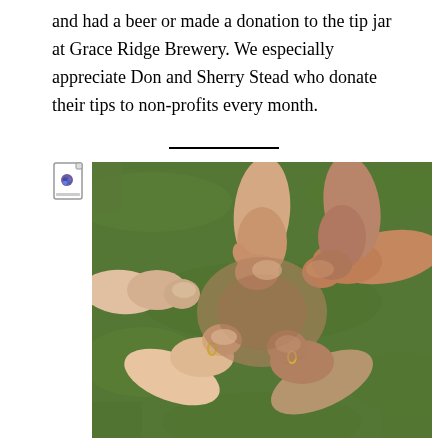and had a beer or made a donation to the tip jar at Grace Ridge Brewery. We especially appreciate Don and Sherry Stead who donate their tips to non-profits every month.
[Figure (photo): Four pairs of hands clasped together in a circle, viewed from above, on a green grass background. Several of the individuals are wearing wedding rings.]